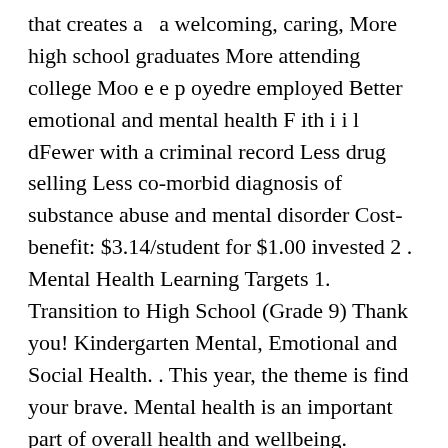that creates a  a welcoming, caring, More high school graduates More attending college Moo e e p oyedre employed Better emotional and mental health F ith i i l dFewer with a criminal record Less drug selling Less co-morbid diagnosis of substance abuse and mental disorder Cost-benefit: $3.14/student for $1.00 invested 2 . Mental Health Learning Targets 1. Transition to High School (Grade 9) Thank you! Kindergarten Mental, Emotional and Social Health. . This year, the theme is find your brave. Mental health is an important part of overall health and wellbeing. Supporting the Mental Health Well-Being of High School Students . The purpose of this day is to raise everyone's awareness about the importance of